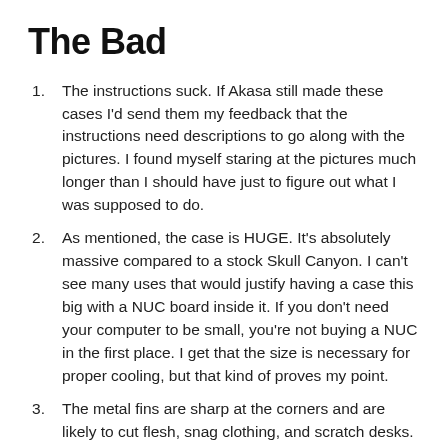The Bad
The instructions suck. If Akasa still made these cases I'd send them my feedback that the instructions need descriptions to go along with the pictures. I found myself staring at the pictures much longer than I should have just to figure out what I was supposed to do.
As mentioned, the case is HUGE. It's absolutely massive compared to a stock Skull Canyon. I can't see many uses that would justify having a case this big with a NUC board inside it. If you don't need your computer to be small, you're not buying a NUC in the first place. I get that the size is necessary for proper cooling, but that kind of proves my point.
The metal fins are sharp at the corners and are likely to cut flesh, snag clothing, and scratch desks. I'm going to install rubber feet on the bottom just to protect my work bench.
The case has no mounting options at all, as the fins would